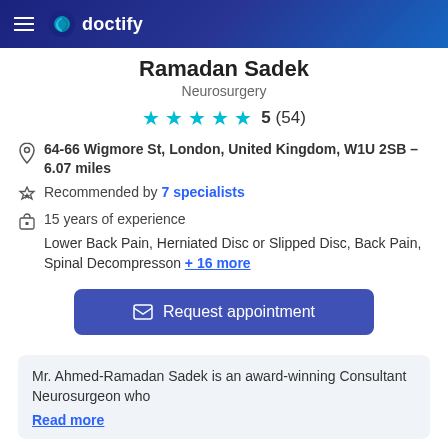doctify
Ramadan Sadek
Neurosurgery
5 (54)
64-66 Wigmore St, London, United Kingdom, W1U 2SB - 6.07 miles
Recommended by 7 specialists
15 years of experience
Lower Back Pain, Herniated Disc or Slipped Disc, Back Pain, Spinal Decompresson + 16 more
Request appointment
Mr. Ahmed-Ramadan Sadek is an award-winning Consultant Neurosurgeon who Read more